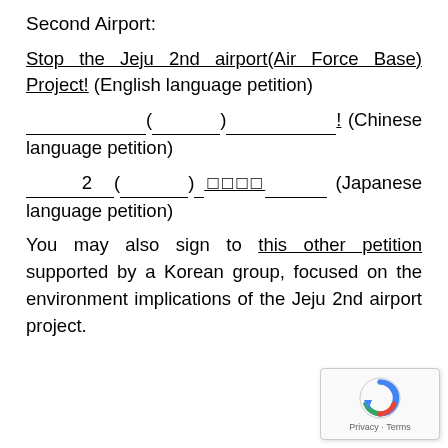Second Airport:
Stop the Jeju 2nd airport(Air Force Base) Project! (English language petition)
___________(_________)____________! (Chinese language petition)
______2_____(________)___ストップ____________ (Japanese language petition)
You may also sign to this other petition supported by a Korean group, focused on the environment implications of the Jeju 2nd airport project.
[Figure (logo): reCAPTCHA logo with Privacy - Terms text]